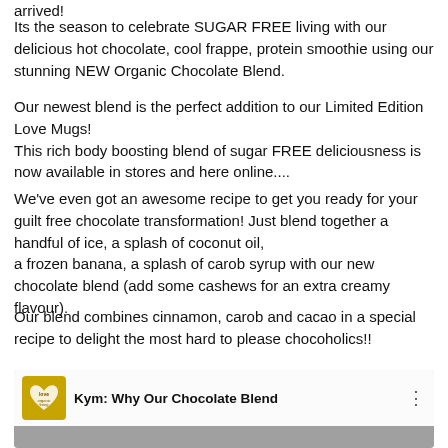arrived!
Its the season to celebrate SUGAR FREE living with our delicious hot chocolate, cool frappe, protein smoothie using our stunning NEW Organic Chocolate Blend.
Our newest blend is the perfect addition to our Limited Edition Love Mugs!
This rich body boosting blend of sugar FREE deliciousness is now available in stores and here online....
We've even got an awesome recipe to get you ready for your guilt free chocolate transformation! Just blend together a handful of ice, a splash of coconut oil,
a frozen banana, a splash of carob syrup with our new chocolate blend (add some cashews for an extra creamy flavour).
Our blend combines cinnamon, carob and cacao in a special recipe to delight the most hard to please chocoholics!!
[Figure (screenshot): Video thumbnail showing a woman with blonde hair and text overlay 'Kym: Why Our Chocolate Blend' with a Love Organic Living logo on the left.]